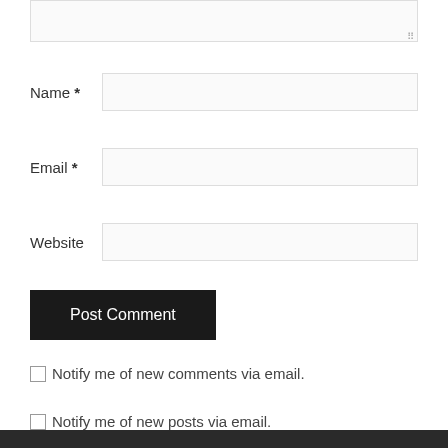[Figure (screenshot): Partial textarea input box at top of page, showing a comment form with resize handle]
Name *
Email *
Website
Post Comment
Notify me of new comments via email.
Notify me of new posts via email.